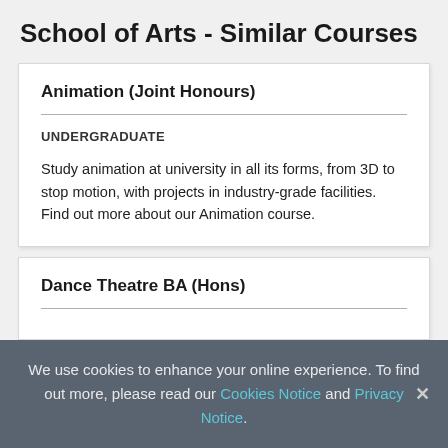School of Arts - Similar Courses
Animation (Joint Honours)
UNDERGRADUATE
Study animation at university in all its forms, from 3D to stop motion, with projects in industry-grade facilities. Find out more about our Animation course.
Dance Theatre BA (Hons)
We use cookies to enhance your online experience. To find out more, please read our Cookies Notice and Privacy Notice.